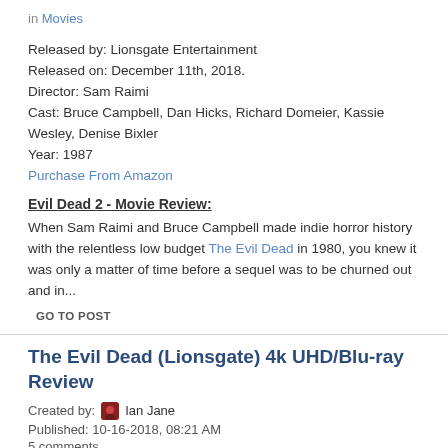in Movies
Released by: Lionsgate Entertainment
Released on: December 11th, 2018.
Director: Sam Raimi
Cast: Bruce Campbell, Dan Hicks, Richard Domeier, Kassie Wesley, Denise Bixler
Year: 1987
Purchase From Amazon
Evil Dead 2 - Movie Review:
When Sam Raimi and Bruce Campbell made indie horror history with the relentless low budget The Evil Dead in 1980, you knew it was only a matter of time before a sequel was to be churned out and in...
GO TO POST
The Evil Dead (Lionsgate) 4k UHD/Blu-ray Review
Created by: Ian Jane
Published: 10-16-2018, 08:21 AM
5 comments
in Movies